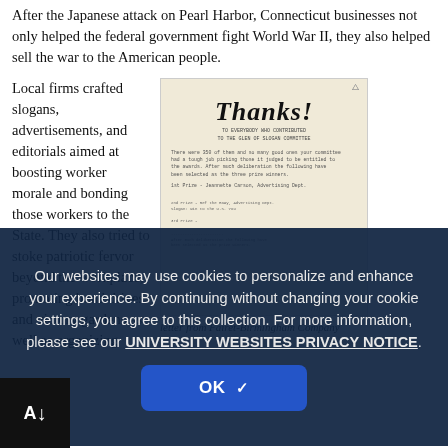After the Japanese attack on Pearl Harbor, Connecticut businesses not only helped the federal government fight World War II, they also helped sell the war to the American people.
Local firms crafted slogans, advertisements, and editorials aimed at boosting worker morale and bonding those workers to the State. They also tried to stoke patriotic fervor beyond the workplace, promoting bond drives and victory gardens as well as organizing...
[Figure (photo): A scanned letter or notice with the heading 'Thanks!' in large handwritten/script style lettering, addressed to contributors to a slogan committee. The document contains typed text with prize winners listed.]
letter from Fairet-Birmingham Company
Our websites may use cookies to personalize and enhance your experience. By continuing without changing your cookie settings, you agree to this collection. For more information, please see our UNIVERSITY WEBSITES PRIVACY NOTICE.